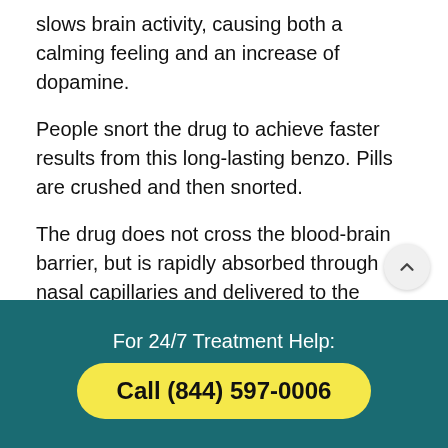slows brain activity, causing both a calming feeling and an increase of dopamine.
People snort the drug to achieve faster results from this long-lasting benzo. Pills are crushed and then snorted.
The drug does not cross the blood-brain barrier, but is rapidly absorbed through nasal capillaries and delivered to the body's bloodstream.
This rapid uptake and surge of dopamine may lead
For 24/7 Treatment Help:
Call (844) 597-0006